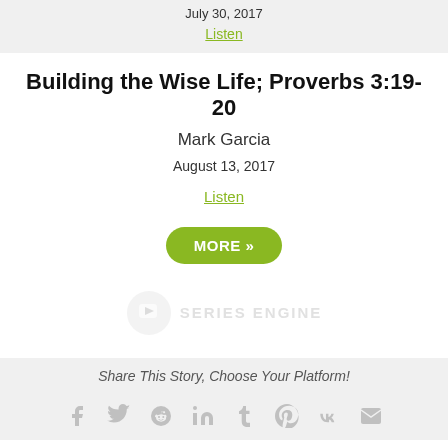July 30, 2017
Listen
Building the Wise Life; Proverbs 3:19-20
Mark Garcia
August 13, 2017
Listen
MORE »
[Figure (logo): Series Engine watermark logo with camera/play icon and text 'SERIES ENGINE']
Share This Story, Choose Your Platform!
[Figure (infographic): Social media share icons: Facebook, Twitter, Reddit, LinkedIn, Tumblr, Pinterest, VK, Email]